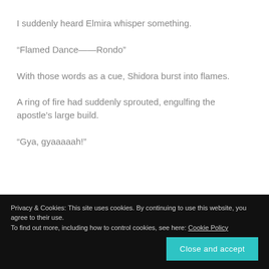I suddenly heard Elmira whisper something.
“Flamed Dance——Rondo”
With those words as a cue, Shidora burst into flames.
A ring of fire had suddenly sprouted, engulfing the apostle’s large build.
“Gya, gyaaaaah!”
Privacy & Cookies: This site uses cookies. By continuing to use this website, you agree to their use. To find out more, including how to control cookies, see here: Cookie Policy Close and accept